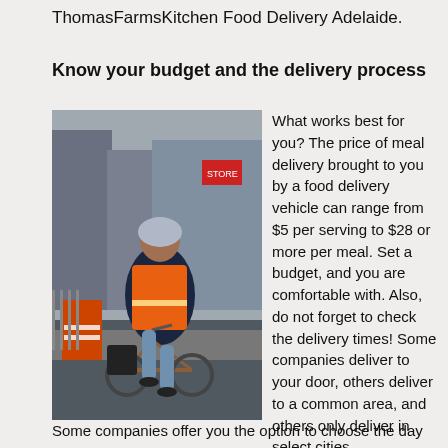ThomasFarmsKitchen Food Delivery Adelaide.
Know your budget and the delivery process
[Figure (photo): A food delivery person wearing an orange high-visibility vest and bicycle helmet, riding a bicycle on a city street with traffic cones and buildings in the background.]
What works best for you? The price of meal delivery brought to you by a food delivery vehicle can range from $5 per serving to $28 or more per meal. Set a budget, and you are comfortable with. Also, do not forget to check the delivery times! Some companies deliver to your door, others deliver to a common area, and others only deliver in select cities.
Some companies offer you the option to choose the day